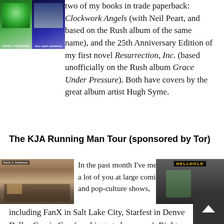[Figure (photo): Two book covers side by side - Kevin J. Anderson books in trade paperback]
two of my books in trade paperback: Clockwork Angels (with Neil Peart, and based on the Rush album of the same name), and the 25th Anniversary Edition of my first novel Resurrection, Inc. (based unofficially on the Rush album Grace Under Pressure). Both have covers by the great album artist Hugh Syme.
The KJA Running Man Tour (sponsored by Tor)
[Figure (photo): Convention booth with Kevin J. Anderson books displayed at a comic show]
In the past month I've met a lot of you at large comic and pop-culture shows,
[Figure (photo): Kevin J. Anderson at a convention booth with Hellhole sign visible]
including FanX in Salt Lake City, Starfest in Denver, Dallas Comic Con (our biggest show ever). Right now I'm